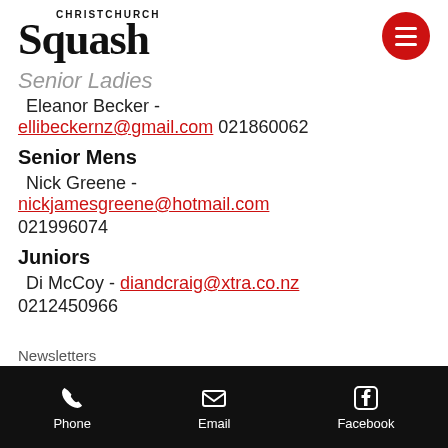[Figure (logo): Christchurch Squash logo with red hamburger menu icon]
Senior Ladies
Eleanor Becker - ellibeckernz@gmail.com 021860062
Senior Mens
Nick Greene - nickjamesgreene@hotmail.com 021996074
Juniors
Di McCoy - diandcraig@xtra.co.nz 0212450966
Newsletters
Phone   Email   Facebook